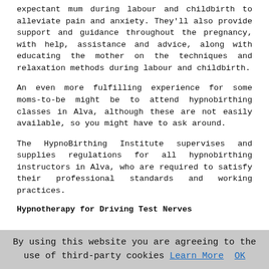expectant mum during labour and childbirth to alleviate pain and anxiety. They'll also provide support and guidance throughout the pregnancy, with help, assistance and advice, along with educating the mother on the techniques and relaxation methods during labour and childbirth.
An even more fulfilling experience for some moms-to-be might be to attend hypnobirthing classes in Alva, although these are not easily available, so you might have to ask around.
The HypnoBirthing Institute supervises and supplies regulations for all hypnobirthing instructors in Alva, who are required to satisfy their professional standards and working practices.
Hypnotherapy for Driving Test Nerves
The driving test really can be one of those situations where the anticipation of the driving test, can be just as bad, if not worse, than the driving test itself! You might be fearing what might happen during your driving test that you're not used to. You might be worrying in case you're not quite 'ready' for your driving test. You might worry
By using this website you are agreeing to the use of third-party cookies Learn More  OK